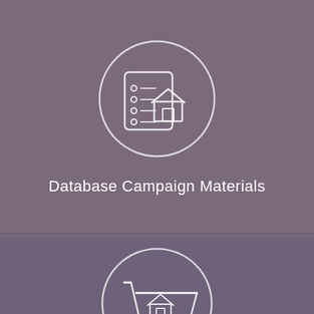[Figure (illustration): White outline icon of a checklist/document with a house, enclosed in a white circle, on a muted purple background]
Database Campaign Materials
[Figure (illustration): White outline icon of a shopping cart with a house/package inside, enclosed in a white circle, on a slightly darker muted purple background]